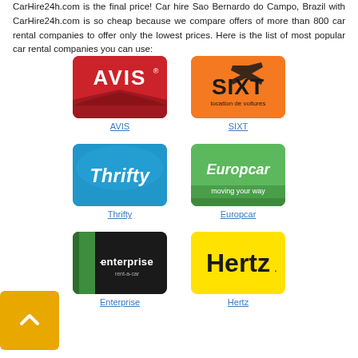CarHire24h.com is the final price! Car hire Sao Bernardo do Campo, Brazil with CarHire24h.com is so cheap because we compare offers of more than 800 car rental companies to offer only the lowest prices. Here is the list of most popular car rental companies you can use:
[Figure (logo): AVIS car rental logo - red background with white AVIS text]
AVIS
[Figure (logo): SIXT location de voitures logo - orange background with black SIXT text]
SIXT
[Figure (logo): Thrifty car rental logo - blue background with white italic Thrifty text]
Thrifty
[Figure (logo): Europcar moving your way logo - green background with white text]
Europcar
[Figure (logo): Enterprise rent-a-car logo - dark background with green stripe and white text]
Enterprise
[Figure (logo): Hertz car rental logo - yellow background with black Hertz text]
Hertz